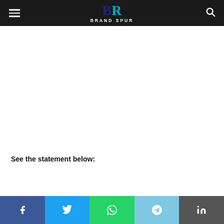Brand Spur
See the statement below:
[Figure (other): Social sharing bar with Facebook, Twitter, WhatsApp, Telegram, and LinkedIn icons]